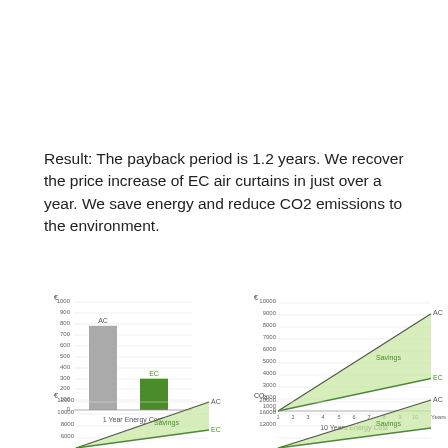Result: The payback period is 1.2 years. We recover the price increase of EC air curtains in just over a year. We save energy and reduce CO2 emissions to the environment.
[Figure (bar-chart): 1 Year Energy Cost]
[Figure (area-chart): Area chart showing AC and EC energy cost lines over 10 years with Savings area in between. AC line reaches ~9000, EC line reaches ~3000 at year 10.]
[Figure (area-chart): Area chart showing AC and EC lines over years with Savings shaded area. AC reaches ~12000, EC ~4000.]
[Figure (area-chart): Area chart showing CO2 emissions for AC and EC over years with Savings area. AC reaches ~20000+, EC lower.]